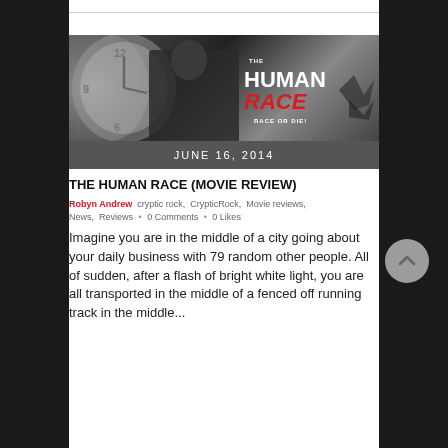[Figure (photo): Movie promotional image for The Human Race showing a man in a black jacket running with a clock in the background and the title 'THE HUMAN RACE - RACE OR DIE!']
JUNE 16, 2014
THE HUMAN RACE (MOVIE REVIEW)
Robyn Andrew  cryptic rock,  CrypticRock,  Movie reviews,  News,  Reviews  •  0 Comments  •  0 Likes
Imagine you are in the middle of a city going about your daily business with 79 random other people. All of sudden, after a flash of bright white light, you are all transported in the middle of a fenced off running track in the middle...